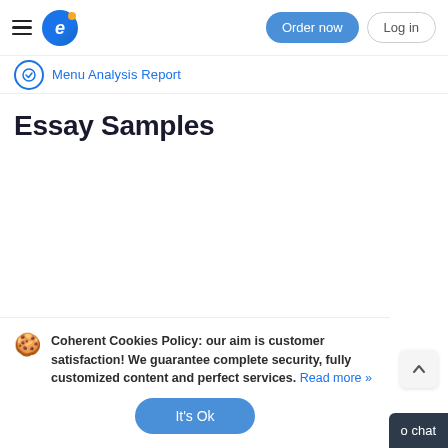Order now | Log in
Menu Analysis Report
Essay Samples
Coherent Cookies Policy: our aim is customer satisfaction! We guarantee complete security, fully customized content and perfect services. Read more »
It's Ok